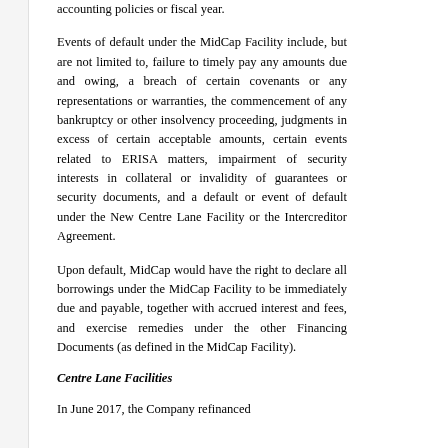accounting policies or fiscal year.
Events of default under the MidCap Facility include, but are not limited to, failure to timely pay any amounts due and owing, a breach of certain covenants or any representations or warranties, the commencement of any bankruptcy or other insolvency proceeding, judgments in excess of certain acceptable amounts, certain events related to ERISA matters, impairment of security interests in collateral or invalidity of guarantees or security documents, and a default or event of default under the New Centre Lane Facility or the Intercreditor Agreement.
Upon default, MidCap would have the right to declare all borrowings under the MidCap Facility to be immediately due and payable, together with accrued interest and fees, and exercise remedies under the other Financing Documents (as defined in the MidCap Facility).
Centre Lane Facilities
In June 2017, the Company refinanced